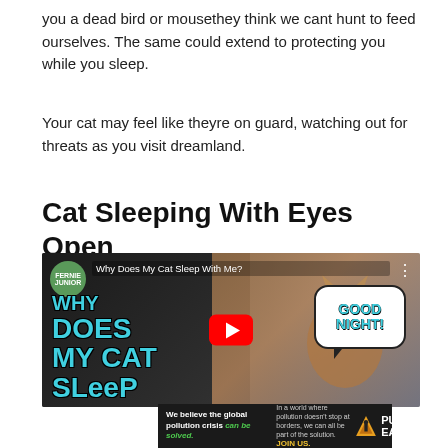you a dead bird or mousethey think we cant hunt to feed ourselves. The same could extend to protecting you while you sleep.
Your cat may feel like theyre on guard, watching out for threats as you visit dreamland.
Cat Sleeping With Eyes Open
[Figure (screenshot): YouTube video thumbnail titled 'Why Does My Cat Sleep With Me?' with large cyan block text reading WHY DOES MY CAT SLEEP with a cat photo and speech bubble saying GOOD NIGHT!, plus a red YouTube play button. An advertisement banner at bottom for Pure Earth reads 'We believe the global pollution crisis can be solved.']